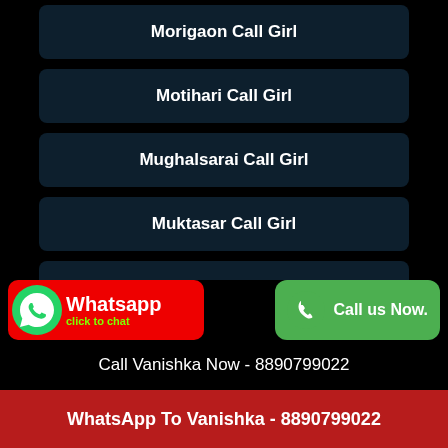Morigaon Call Girl
Motihari Call Girl
Mughalsarai Call Girl
Muktasar Call Girl
Mundi Call Girl
Munger Call Girl
Munnar Call Girl
...yurude...hwara Call Girl
Call Vanishka Now - 8890799022
WhatsApp To Vanishka - 8890799022